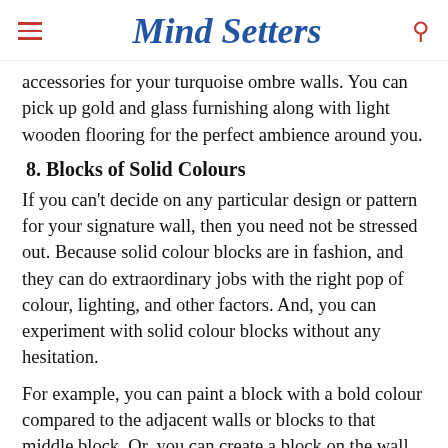Mind Setters
accessories for your turquoise ombre walls. You can pick up gold and glass furnishing along with light wooden flooring for the perfect ambience around you.
8. Blocks of Solid Colours
If you can't decide on any particular design or pattern for your signature wall, then you need not be stressed out. Because solid colour blocks are in fashion, and they can do extraordinary jobs with the right pop of colour, lighting, and other factors. And, you can experiment with solid colour blocks without any hesitation.
For example, you can paint a block with a bold colour compared to the adjacent walls or blocks to that middle block. Or, you can create a block on the wall by using the